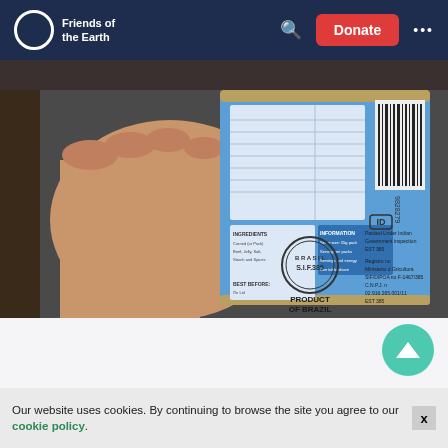Friends of the Earth — Donate
[Figure (photo): A hand holding a blue tin can of corned beef, showing the back label which reads 'PRODUCT OF BRAZIL' with a Brazilian inspection stamp 'S.I.F. 385' and barcode. The label mentions 'Packed Under Indian Government inspection EST 385'.]
Corned beef being sourced from company linked to Amazon destruction
Friends of the Earth has traced supermarket corned beef to a meat company accused of violating rainforest-protection laws.
Our website uses cookies. By continuing to browse the site you agree to our cookie policy.